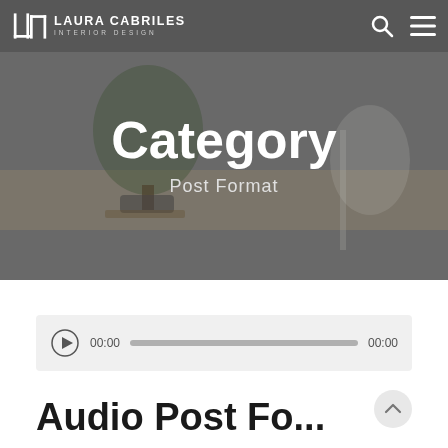LAURA CABRILES INTERIOR DESIGN
Category
Post Format
[Figure (screenshot): Audio player widget showing play button, 00:00 timestamp, progress bar, and 00:00 end time]
Audio Post Format